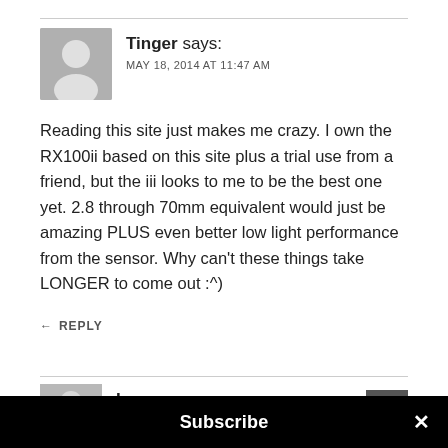Tinger says:
MAY 18, 2014 AT 11:47 AM
Reading this site just makes me crazy. I own the RX100ii based on this site plus a trial use from a friend, but the iii looks to me to be the best one yet. 2.8 through 70mm equivalent would just be amazing PLUS even better low light performance from the sensor. Why can't these things take LONGER to come out :^)
REPLY
Lucas says:
Subscribe